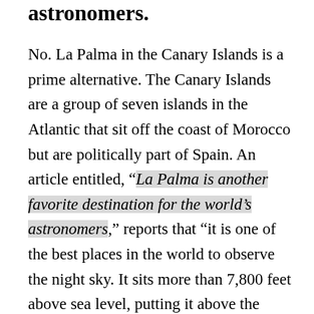astronomers.
No. La Palma in the Canary Islands is a prime alternative. The Canary Islands are a group of seven islands in the Atlantic that sit off the coast of Morocco but are politically part of Spain. An article entitled, “La Palma is another favorite destination for the world’s astronomers,” reports that “it is one of the best places in the world to observe the night sky. It sits more than 7,800 feet above sea level, putting it above the inversion layer where clouds usually form.” It also is endowed with “clear skies, perfect weather and near zero light pollution.” As reported in El Pais (English version), “Gary Sander, the project